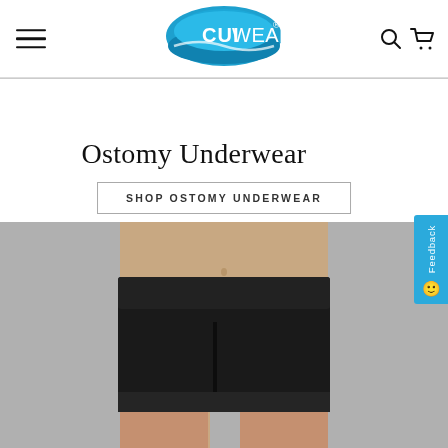[Figure (logo): CUI WEAR logo — white text on a blue oval with a wave design]
Ostomy Underwear
SHOP OSTOMY UNDERWEAR
[Figure (photo): Male model wearing black ostomy underwear/shorts against a grey background, cropped from waist to mid-thigh]